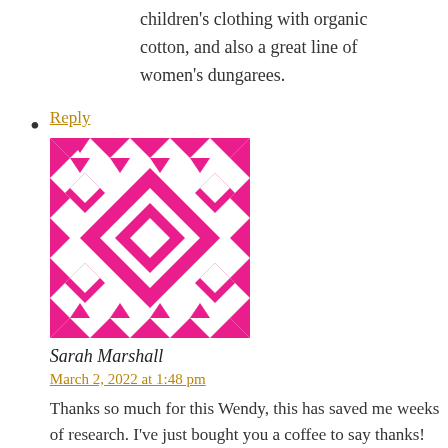children's clothing with organic cotton, and also a great line of women's dungarees.
• Reply
[avatar image]
Sarah Marshall
March 2, 2022 at 1:48 pm
Thanks so much for this Wendy, this has saved me weeks of research. I've just bought you a coffee to say thanks!
Leave a Reply
Your email address will not be published. Required fields